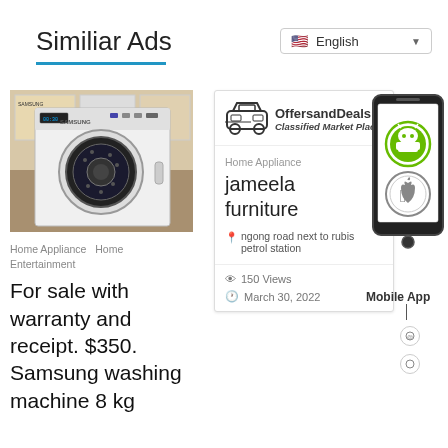Similiar Ads
[Figure (screenshot): Language selector dropdown showing English with US flag]
[Figure (photo): Samsung washing machine, white front-load washer in a store setting]
Home Appliance   Home Entertainment
For sale with warranty and receipt. $350. Samsung washing machine 8 kg
[Figure (infographic): OffersandDeals Classified Market Place card with car icon logo, showing listing for jameela furniture at ngong road next to rubis petrol station, 150 Views, March 30, 2022]
[Figure (illustration): Mobile App promotion showing a smartphone with Android and Apple download icons, with vertical line connector and label Mobile App]